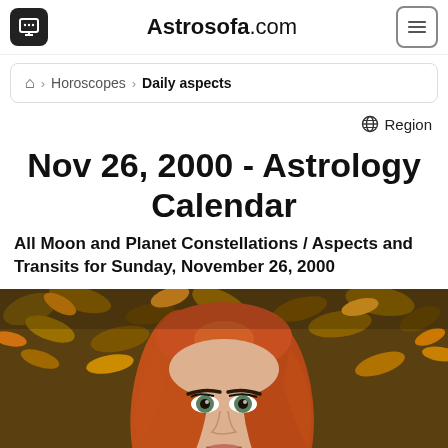Astrosofa.com
⌂ > Horoscopes > Daily aspects
⊕ Region
Nov 26, 2000 - Astrology Calendar
All Moon and Planet Constellations / Aspects and Transits for Sunday, November 26, 2000
[Figure (photo): Portrait of a red-haired woman with green eyes, outdoors with autumn leaves in the background]